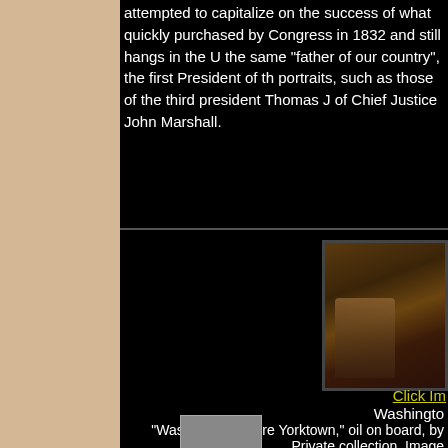many to be found only to Gilbert Stuart's iconic Athenaeum portrait. Others attempted to capitalize on the success of what quickly became iconic. It was purchased by Congress in 1832 and still hangs in the U... the same "father of our country", the first President of the... portraits, such as those of the third president Thomas J... of Chief Justice John Marshall.
[Figure (photo): Framed painting of Washington Before Yorktown, oil on board, showing a figure in dark clothing against a dark background with foliage.]
Click Im... Washington... "Washington Before Yorktown," oil on board, by... Private collection. Image... Paint...